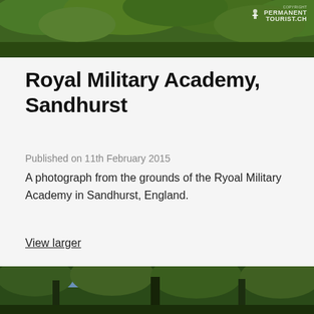[Figure (photo): Photograph of green trees/forest canopy at the Royal Military Academy, Sandhurst grounds. Copyright watermark 'PERMANENT TOURIST.CH' in top right corner.]
Royal Military Academy, Sandhurst
Published on 11th February 2015
A photograph from the grounds of the Ryoal Military Academy in Sandhurst, England.
View larger
[Figure (photo): Photograph of tall pine/fir trees with blue sky visible between them, taken at the Royal Military Academy grounds in Sandhurst.]